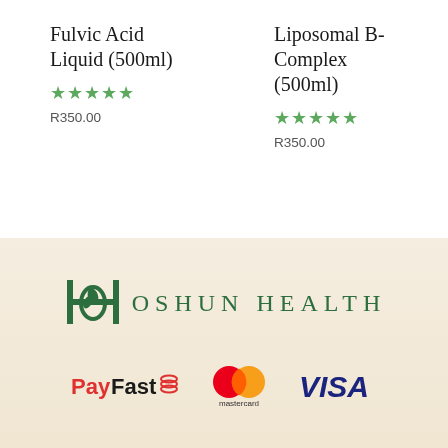Fulvic Acid Liquid (500ml)
★★★★★
R350.00
Liposomal B-Complex (500ml)
★★★★★
R350.00
[Figure (logo): Oshun Health logo with decorative OH monogram and spaced text OSHUN HEALTH in green serif font]
[Figure (logo): PayFast payment logo in red and black text]
[Figure (logo): Mastercard logo with overlapping red and orange circles and mastercard text below]
[Figure (logo): VISA logo in dark navy bold italic text]